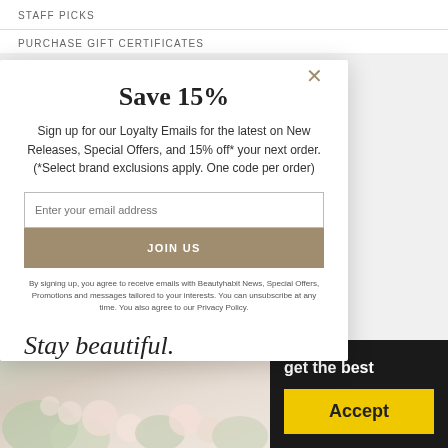STAFF PICKS
PURCHASE GIFT CERTIFICATES
Save 15%
Sign up for our Loyalty Emails for the latest on New Releases, Special Offers, and 15% off* your next order. (*Select brand exclusions apply. One code per order)
Enter your email address
JOIN US
By signing up, you agree to receive emails with Beautyhabit News, Special Offers, Promotions and messages tailored to your interests. You can unsubscribe at any time. You also agree to our Privacy Policy.
Stay beautiful.
×
get the best
Accept